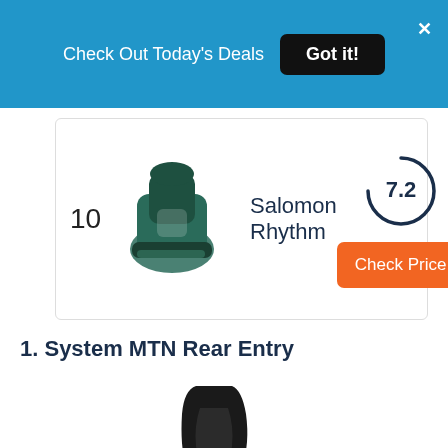Check Out Today's Deals  Got it!
10  Salomon Rhythm  7.2  Check Price
1. System MTN Rear Entry
[Figure (photo): Black and white snowboard binding (System MTN Rear Entry) shown from a side angle, with a black highback and white base plate.]